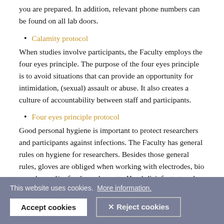you are prepared. In addition, relevant phone numbers can be found on all lab doors.
Calamity protocol
When studies involve participants, the Faculty employs the four eyes principle. The purpose of the four eyes principle is to avoid situations that can provide an opportunity for intimidation, (sexual) assault or abuse. It also creates a culture of accountability between staff and participants.
Four eyes principle protocol
Good personal hygiene is important to protect researchers and participants against infections. The Faculty has general rules on hygiene for researchers. Besides those general rules, gloves are obliged when working with electrodes, bio samples and/or food supplements. Hand-disinfectant and gloves are available in the labs and at the SOLO helpdesk.
Hygiene protocol
This website uses cookies. More information.
Accept cookies   Reject cookies